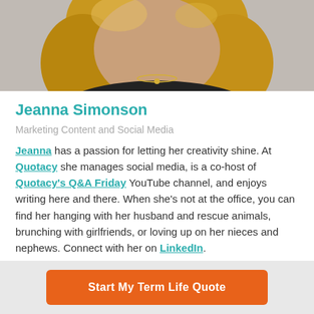[Figure (photo): Headshot photo of Jeanna Simonson, a woman with long blonde hair, wearing a black jacket over a blue top, with a necklace, photographed against a light gray background.]
Jeanna Simonson
Marketing Content and Social Media
Jeanna has a passion for letting her creativity shine. At Quotacy she manages social media, is a co-host of Quotacy's Q&A Friday YouTube channel, and enjoys writing here and there. When she's not at the office, you can find her hanging with her husband and rescue animals, brunching with girlfriends, or loving up on her nieces and nephews. Connect with her on LinkedIn.
Start My Term Life Quote